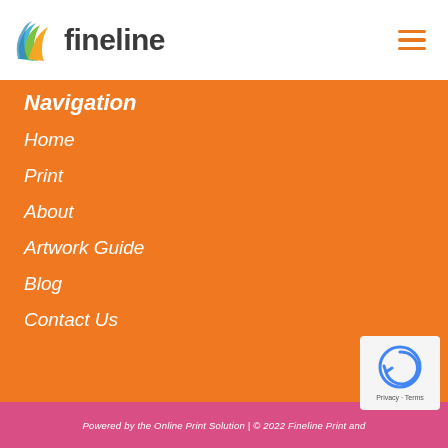[Figure (logo): Fineline logo with colorful wave graphic and dark text 'fineline']
Navigation
Home
Print
About
Artwork Guide
Blog
Contact Us
Powered by the Online Print Solution | © 2022 Fineline Print and